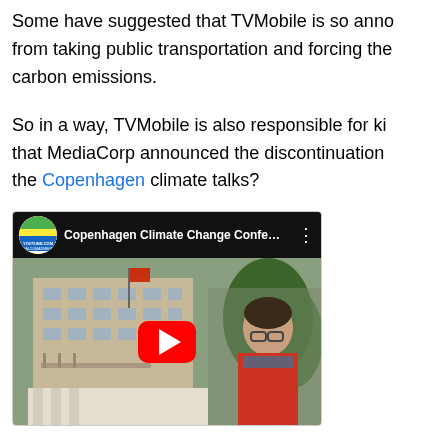Some have suggested that TVMobile is so anno from taking public transportation and forcing the carbon emissions.
So in a way, TVMobile is also responsible for ki that MediaCorp announced the discontinuation the Copenhagen climate talks?
[Figure (screenshot): YouTube video embed showing 'Copenhagen Climate Change Confe...' with a channel icon labeled realclimatenews, a red play button overlay, and a thumbnail showing a building exterior and a woman in a red jacket speaking.]